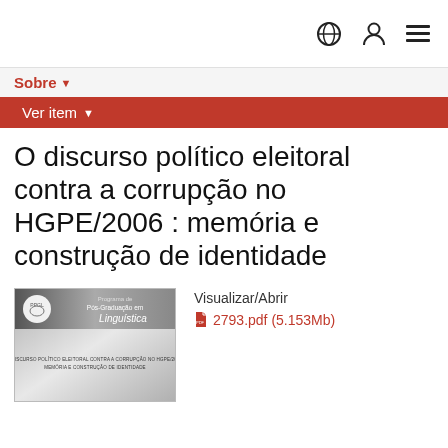Sobre
Ver item
O discurso político eleitoral contra a corrupção no HGPE/2006 : memória e construção de identidade
[Figure (photo): Thumbnail of a document cover from PPGL - Programa de Pós-Graduação em Linguística, showing the title of the work in gray text]
Visualizar/Abrir
2793.pdf (5.153Mb)